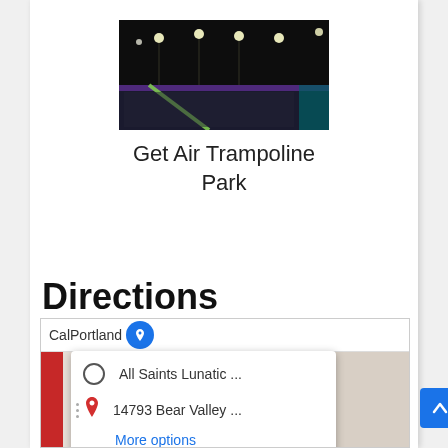[Figure (photo): Interior photo of Get Air Trampoline Park showing dark ceiling with lights and trampoline surfaces with colored borders]
Get Air Trampoline Park
Directions
[Figure (map): Google Maps widget showing directions interface with two rows: 'All Saints Lunatic ...' as origin and '14793 Bear Valley ...' as destination, with a 'More options' link. Map shows CalPortland text and a red route bar on left side.]